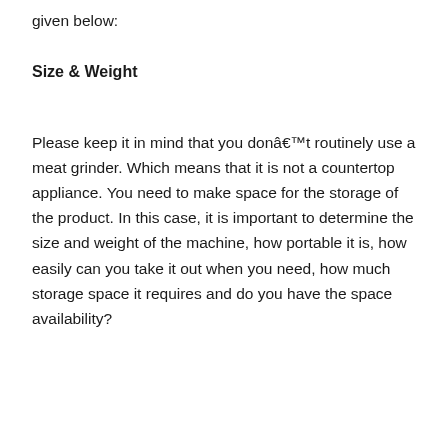given below:
Size & Weight
Please keep it in mind that you donât routinely use a meat grinder. Which means that it is not a countertop appliance. You need to make space for the storage of the product. In this case, it is important to determine the size and weight of the machine, how portable it is, how easily can you take it out when you need, how much storage space it requires and do you have the space availability?